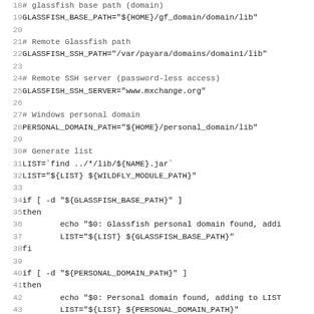Shell script code listing, lines 18-50, showing Glassfish/Payara deployment configuration variables and conditional logic for path detection.